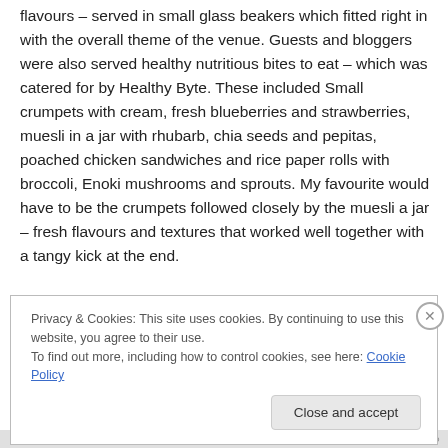flavours – served in small glass beakers which fitted right in with the overall theme of the venue. Guests and bloggers were also served healthy nutritious bites to eat – which was catered for by Healthy Byte. These included Small crumpets with cream, fresh blueberries and strawberries, muesli in a jar with rhubarb, chia seeds and pepitas, poached chicken sandwiches and rice paper rolls with broccoli, Enoki mushrooms and sprouts. My favourite would have to be the crumpets followed closely by the muesli a jar – fresh flavours and textures that worked well together with a tangy kick at the end.
Privacy & Cookies: This site uses cookies. By continuing to use this website, you agree to their use.
To find out more, including how to control cookies, see here: Cookie Policy
Close and accept
BLUEBIRD TEA CO